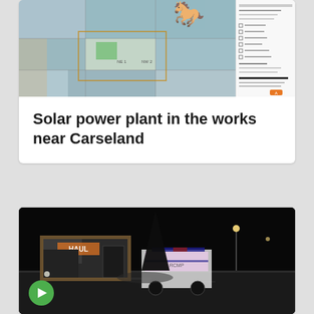[Figure (photo): Aerial map view of farmland near Carseland with grid parcels in green and blue-grey tones, and a horse silhouette logo in the upper right area]
[Figure (screenshot): Document or form screenshot with text and an orange logo at bottom right]
Solar power plant in the works near Carseland
[Figure (photo): Night-time dashcam footage showing a U-Haul truck and a white police/RCMP SUV on a dark road with street lights in the background]
Play button overlay on video thumbnail